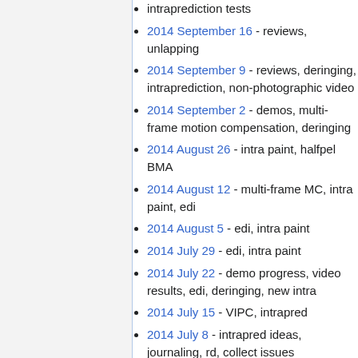intraprediction tests
2014 September 16 - reviews, unlapping
2014 September 9 - reviews, deringing, intraprediction, non-photographic video
2014 September 2 - demos, multi-frame motion compensation, deringing
2014 August 26 - intra paint, halfpel BMA
2014 August 12 - multi-frame MC, intra paint, edi
2014 August 5 - edi, intra paint
2014 July 29 - edi, intra paint
2014 July 22 - demo progress, video results, edi, deringing, new intra
2014 July 15 - VIPC, intrapred
2014 July 8 - intrapred ideas, journaling, rd, collect issues